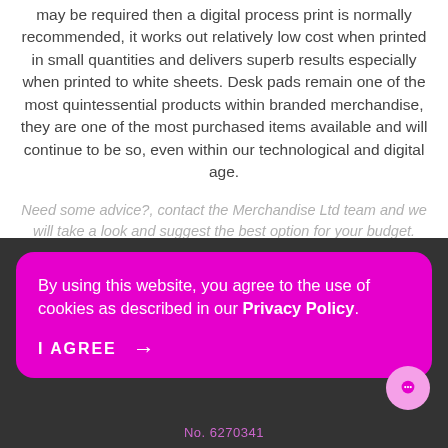may be required then a digital process print is normally recommended, it works out relatively low cost when printed in small quantities and delivers superb results especially when printed to white sheets. Desk pads remain one of the most quintessential products within branded merchandise, they are one of the most purchased items available and will continue to be so, even within our technological and digital age.
Need some advice?, contact the Merchandise Ltd team and we will take a look and suggest the best option for your budget.
By using this website, you agree to the use of cookies as described in our Privacy Policy.
I AGREE →
No. 6270341